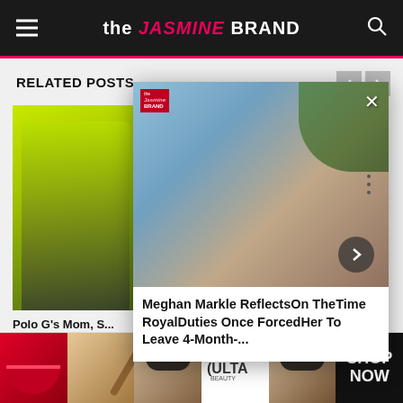the JASMINE BRAND
RELATED POSTS
[Figure (photo): Person wearing yellow-green sweatshirt with 'Experience' text, The Jasmine Brand watermark]
Polo G's Mom, Mac, Offering $... Reward To Help Capture
[Figure (photo): Meghan Markle holding a baby, popup overlay card with close X button and next arrow]
Meghan Markle ReflectsOn TheTime RoyalDuties Once ForcedHer To Leave 4-Month-...
[Figure (photo): Ulta Beauty advertisement banner with makeup imagery including lips, brush, eyes, Ulta logo, and SHOP NOW text]